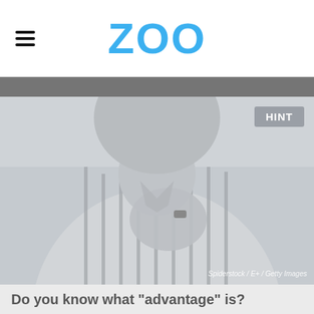ZOO
[Figure (photo): Grayscale photo of a person in a striped referee shirt blowing a whistle, with a 'HINT' button overlay in the top right corner. Watermark reads: Spiderstock / E+ / Getty Images]
Do you know what "advantage" is?